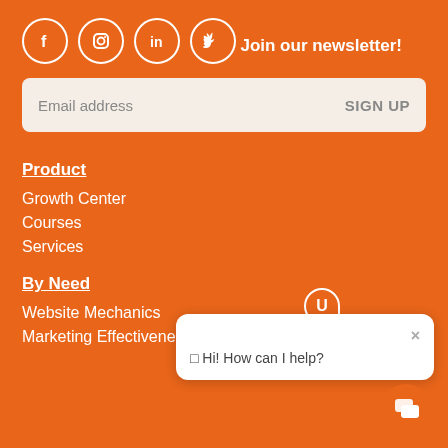[Figure (illustration): Social media icons: Facebook, Instagram, LinkedIn, Twitter — white circle outlines on orange background]
Join our newsletter!
Email address   SIGN UP
Product
Growth Center
Courses
Services
By Need
Website Mechanics
Marketing Effectiveness
[Figure (screenshot): Chat popup widget with U logo and message: Hi! How can I help?]